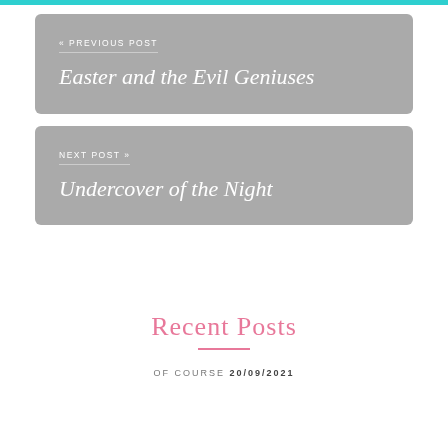« PREVIOUS POST
Easter and the Evil Geniuses
NEXT POST »
Undercover of the Night
Recent Posts
OF COURSE 20/09/2021